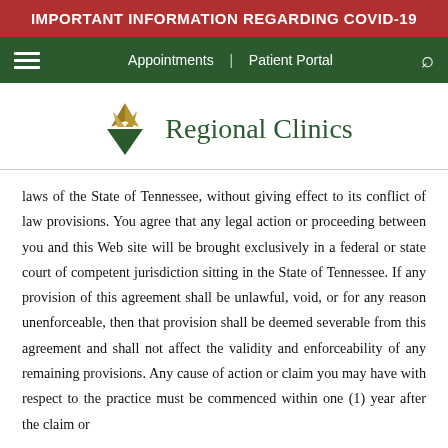IMPORTANT INFORMATION REGARDING COVID-19
[Figure (logo): Regional Clinics logo with gold and green diamond/mountain symbol and green text]
laws of the State of Tennessee, without giving effect to its conflict of law provisions. You agree that any legal action or proceeding between you and this Web site will be brought exclusively in a federal or state court of competent jurisdiction sitting in the State of Tennessee. If any provision of this agreement shall be unlawful, void, or for any reason unenforceable, then that provision shall be deemed severable from this agreement and shall not affect the validity and enforceability of any remaining provisions. Any cause of action or claim you may have with respect to the practice must be commenced within one (1) year after the claim or